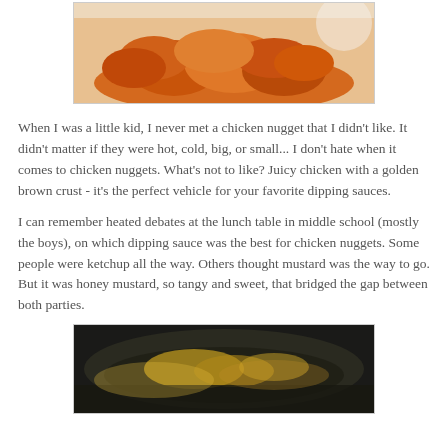[Figure (photo): Photo of golden brown crispy chicken nuggets piled on a white plate]
When I was a little kid, I never met a chicken nugget that I didn't like. It didn't matter if they were hot, cold, big, or small... I don't hate when it comes to chicken nuggets. What's not to like? Juicy chicken with a golden brown crust - it's the perfect vehicle for your favorite dipping sauces.
I can remember heated debates at the lunch table in middle school (mostly the boys), on which dipping sauce was the best for chicken nuggets. Some people were ketchup all the way. Others thought mustard was the way to go. But it was honey mustard, so tangy and sweet, that bridged the gap between both parties.
[Figure (photo): Photo of chicken nuggets frying in oil in a pan, showing the cooking process]